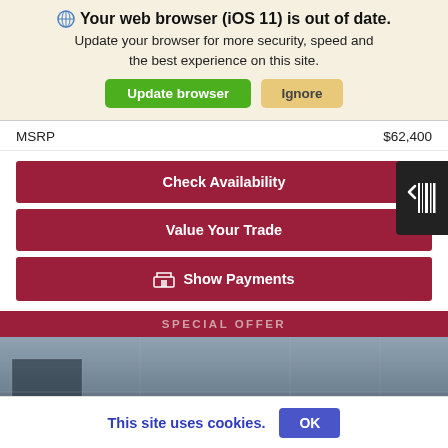Your web browser (iOS 11) is out of date. Update your browser for more security, speed and the best experience on this site. Update browser | Ignore
MSRP $62,400
Check Availability
Value Your Trade
Show Payments
SPECIAL OFFER
[Figure (photo): Partial view of a vehicle (truck/SUV) in gray/blue tones, shown from below the SPECIAL OFFER bar]
This site uses cookies.
OK